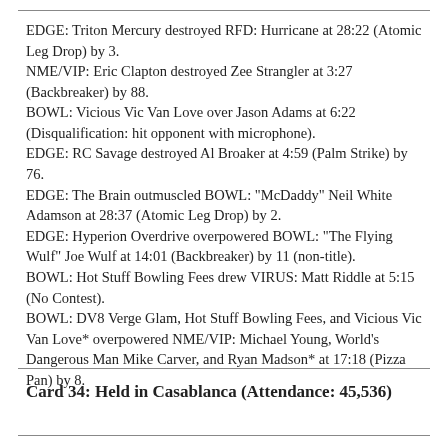EDGE: Triton Mercury destroyed RFD: Hurricane at 28:22 (Atomic Leg Drop) by 3.
NME/VIP: Eric Clapton destroyed Zee Strangler at 3:27 (Backbreaker) by 88.
BOWL: Vicious Vic Van Love over Jason Adams at 6:22 (Disqualification: hit opponent with microphone).
EDGE: RC Savage destroyed Al Broaker at 4:59 (Palm Strike) by 76.
EDGE: The Brain outmuscled BOWL: "McDaddy" Neil White Adamson at 28:37 (Atomic Leg Drop) by 2.
EDGE: Hyperion Overdrive overpowered BOWL: "The Flying Wulf" Joe Wulf at 14:01 (Backbreaker) by 11 (non-title).
BOWL: Hot Stuff Bowling Fees drew VIRUS: Matt Riddle at 5:15 (No Contest).
BOWL: DV8 Verge Glam, Hot Stuff Bowling Fees, and Vicious Vic Van Love* overpowered NME/VIP: Michael Young, World's Dangerous Man Mike Carver, and Ryan Madson* at 17:18 (Pizza Pan) by 8.
Card 34: Held in Casablanca (Attendance: 45,536)